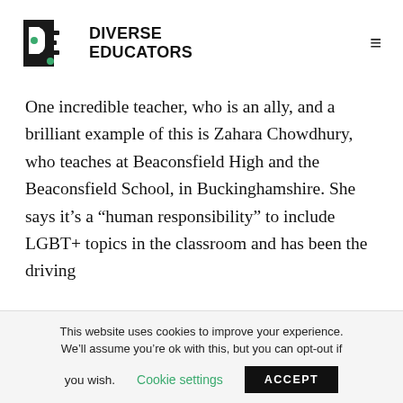[Figure (logo): Diverse Educators logo — black geometric DE monogram with green dot, beside bold uppercase text DIVERSE EDUCATORS]
One incredible teacher, who is an ally, and a brilliant example of this is Zahara Chowdhury, who teaches at Beaconsfield High and the Beaconsfield School, in Buckinghamshire. She says it's a “human responsibility” to include LGBT+ topics in the classroom and has been the driving
This website uses cookies to improve your experience. We’ll assume you’re ok with this, but you can opt-out if you wish.  Cookie settings  ACCEPT